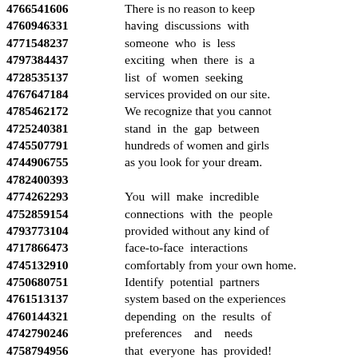4766541606 There is no reason to keep
4760946331 having discussions with
4771548237 someone who is less
4797384437 exciting when there is a
4728535137 list of women seeking
4767647184 services provided on our site.
4785462172 We recognize that you cannot
4725240381 stand in the gap between
4745507791 hundreds of women and girls
4744906755 as you look for your dream.
4782400393
4774262293 You will make incredible
4752859154 connections with the people
4793773104 provided without any kind of
4717866473 face-to-face interactions
4745132910 comfortably from your own home.
4750680751 Identify potential partners
4761513137 system based on the experiences
4760144321 depending on the results of
4742790246 preferences and needs
4758794956 that everyone has provided!
4714799117 It is a great way to relieve
4769512407 pressure without getting
4761454659 emotionally attached for
4780272168 those who have a busy schedule
4740543445 ...